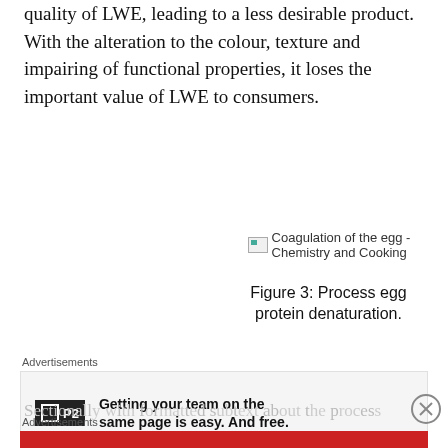quality of LWE, leading to a less desirable product. With the alteration to the colour, texture and impairing of functional properties, it loses the important value of LWE to consumers.
[Figure (illustration): Broken image placeholder for 'Coagulation of the egg - Chemistry and Cooking']
Figure 3: Process egg protein denaturation.
Advertisements
[Figure (other): Advertisement: P2 logo with text 'Getting your team on the same page is easy. And free.']
Advertisements
[Figure (other): Advertisement: Pocket Casts - 'An app by listeners, for listeners.' Red banner with phone image.]